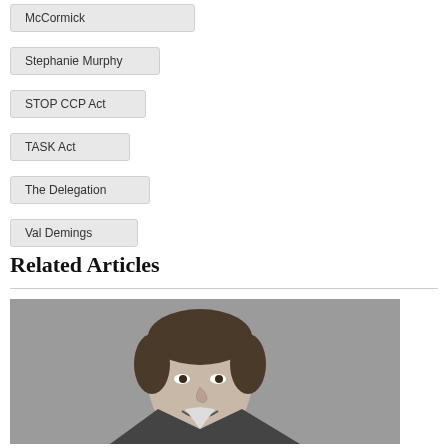McCormick
Stephanie Murphy
STOP CCP Act
TASK Act
The Delegation
Val Demings
Related Articles
[Figure (photo): Black and white portrait photo of a man in a suit, smiling]